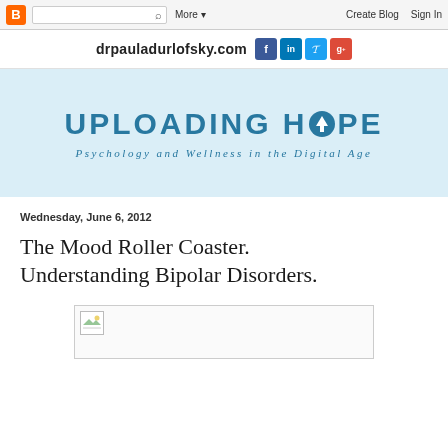Blogger navbar with search, More, Create Blog, Sign In
drpauladurlofsky.com with social icons: f, in, Twitter, g+
[Figure (illustration): Blog banner with light blue background. Title: UPLOADING HOPE (with arrow-up icon replacing the O in HOPE). Subtitle: Psychology and Wellness in the Digital Age]
Wednesday, June 6, 2012
The Mood Roller Coaster. Understanding Bipolar Disorders.
[Figure (photo): Broken image placeholder with partial green/white broken image icon in upper left of a light bordered box]